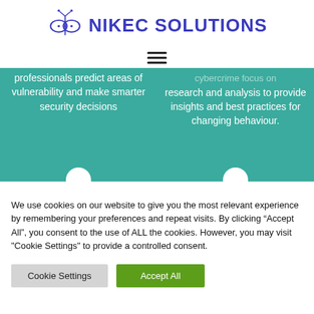NIKEC SOLUTIONS
[Figure (logo): Nikec Solutions logo: stylized butterfly/circuit icon in blue]
[Figure (other): Hamburger menu icon (three horizontal lines)]
professionals predict areas of vulnerability and make smarter security decisions
cybercrime focus on research and analysis to provide insights and best practices for changing behaviour.
We use cookies on our website to give you the most relevant experience by remembering your preferences and repeat visits. By clicking “Accept All”, you consent to the use of ALL the cookies. However, you may visit "Cookie Settings" to provide a controlled consent.
Cookie Settings
Accept All